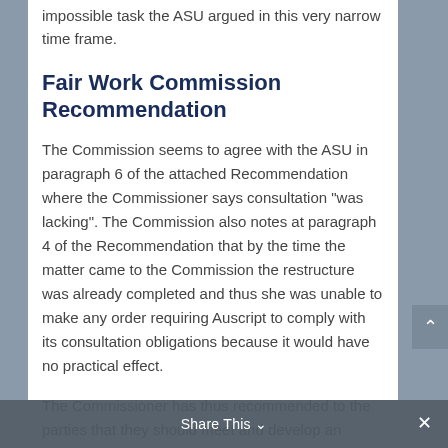impossible task the ASU argued in this very narrow time frame.
Fair Work Commission Recommendation
The Commission seems to agree with the ASU in paragraph 6 of the attached Recommendation where the Commissioner says consultation “was lacking”. The Commission also notes at paragraph 4 of the Recommendation that by the time the matter came to the Commission the restructure was already completed and thus she was unable to make any order requiring Auscript to comply with its consultation obligations because it would have no practical effect.
The Commissioner has thus recommended to the parties that they should meet and develop an agreed arrangement for consultation in the future